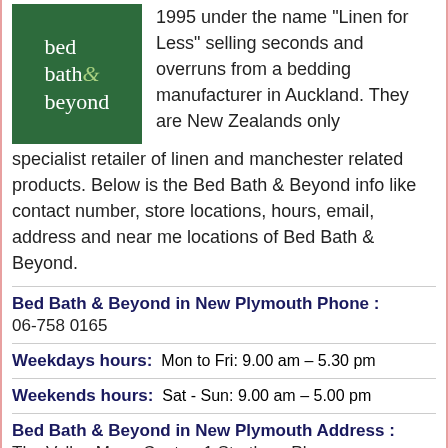[Figure (logo): Bed Bath & Beyond logo: green square background with white text reading 'bed bath & beyond', ampersand in light green]
1995 under the name "Linen for Less" selling seconds and overruns from a bedding manufacturer in Auckland. They are New Zealands only specialist retailer of linen and manchester related products. Below is the Bed Bath & Beyond info like contact number, store locations, hours, email, address and near me locations of Bed Bath & Beyond.
Bed Bath & Beyond in New Plymouth Phone :
06-758 0165
Weekdays hours:  Mon to Fri: 9.00 am – 5.30 pm
Weekends hours:  Sat - Sun: 9.00 am – 5.00 pm
Bed Bath & Beyond in New Plymouth Address :
The Valley Mega Centre, 1 Struthers Place, Waiwhakaiho, New Plymouth 4312, New Zealand